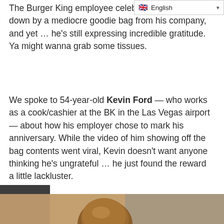The Burger King employee celeb­[cut off] says he felt let down by a mediocre goodie bag from his company, and yet … he's still expressing incredible gratitude. Ya might wanna grab some tissues.
We spoke to 54-year-old Kevin Ford — who works as a cook/cashier at the BK in the Las Vegas airport — about how his employer chose to mark his anniversary. While the video of him showing off the bag contents went viral, Kevin doesn't want anyone thinking he's ungrateful … he just found the reward a little lackluster.
[Figure (photo): Partial photo of a Black man's head (Kevin Ford), bald, viewed from above/front, against a muted tan/grey background. Left portion of the image is obscured by a dark grey/black rectangle.]